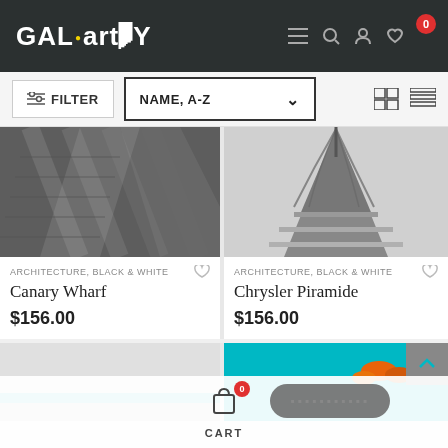GAL.artY — navigation header with logo, menu, search, user, wishlist, cart (0)
FILTER   NAME, A-Z ▾   (grid/list view icons)
[Figure (photo): Black and white photo of escalators at Canary Wharf]
ARCHITECTURE, BLACK & WHITE
Canary Wharf
$156.00
[Figure (photo): Black and white photo of Chrysler Building pyramid top]
ARCHITECTURE, BLACK & WHITE
Chrysler Piramide
$156.00
[Figure (photo): Partial view of a light-colored product image (bottom row left)]
[Figure (photo): Teal/cyan background with orange objects (bottom row right)]
CART (0)